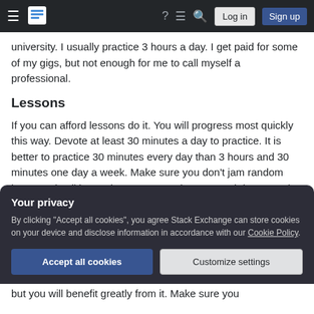Stack Exchange navigation bar with Log in and Sign up buttons
university. I usually practice 3 hours a day. I get paid for some of my gigs, but not enough for me to call myself a professional.
Lessons
If you can afford lessons do it. You will progress most quickly this way. Devote at least 30 minutes a day to practice. It is better to practice 30 minutes every day than 3 hours and 30 minutes one day a week. Make sure you don't jam random beats and call it practice. It won't make you much better to do
Your privacy
By clicking "Accept all cookies", you agree Stack Exchange can store cookies on your device and disclose information in accordance with our Cookie Policy.
but you will benefit greatly from it. Make sure you
Accept all cookies
Customize settings